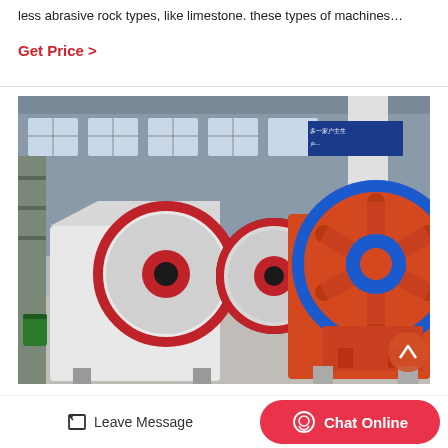less abrasive rock types, like limestone. these types of machines…
Get Price  >
[Figure (photo): Industrial jaw crusher machines in a factory setting. Two large jaw crushers are visible: one white with red flywheel rings on the left, and one orange-red with blue flywheel ring on the right. The machines are in an industrial warehouse/factory with windows visible in the background.]
Leave Message
Chat Online